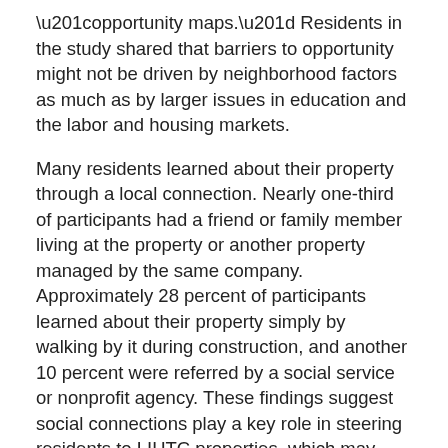“opportunity maps.” Residents in the study shared that barriers to opportunity might not be driven by neighborhood factors as much as by larger issues in education and the labor and housing markets.
Many residents learned about their property through a local connection. Nearly one-third of participants had a friend or family member living at the property or another property managed by the same company. Approximately 28 percent of participants learned about their property simply by walking by it during construction, and another 10 percent were referred by a social service or nonprofit agency. These findings suggest social connections play a key role in steering residents to LIHTC properties, which may result in the clustering of demographics.
Nearly 50 percent of participants lived in the same ZIP code prior to moving into their current LIHTC home. Seventy percent of residents had moved from a neighborhood with a similar level of poverty, 20 percent had moved from a lower-poverty neighborhood, and 10